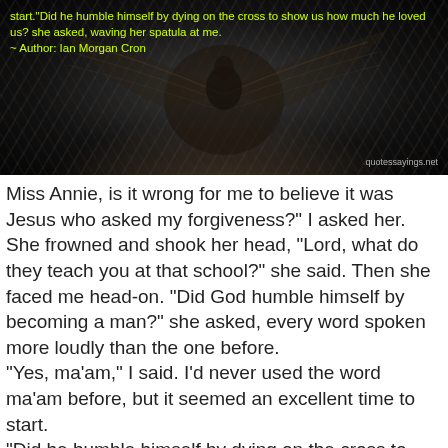[Figure (photo): Dark photograph of an eagle with wings spread, overlaid with yellow-green quote text and watermark reading 'quotessayings.net']
Miss Annie, is it wrong for me to believe it was Jesus who asked my forgiveness?" I asked her. She frowned and shook her head, "Lord, what do they teach you at that school?" she said. Then she faced me head-on. "Did God humble himself by becoming a man?" she asked, every word spoken more loudly than the one before. "Yes, ma'am," I said. I'd never used the word ma'am before, but it seemed an excellent time to start. "Did he humble himself by dying on the cross to show us how much he loved us? she asked, waving her spatula at me.